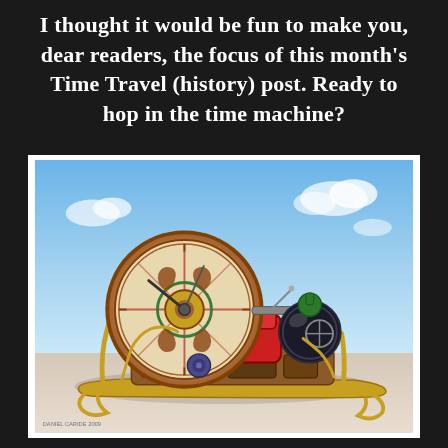I thought it would be fun to make you, dear readers, the focus of this month's Time Travel (history) post. Ready to hop in the time machine?
[Figure (illustration): 3D rendered illustration of a steampunk-style time machine sled with a large ornate clock wheel, red seat, gold frame runners, and various mechanical components, set against a blue sky background. Credit: Daniel Caride 2009.]